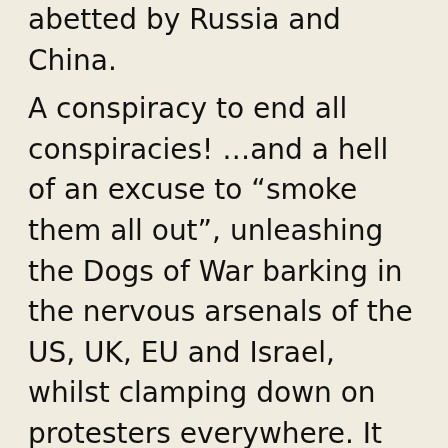abetted by Russia and China.
A conspiracy to end all conspiracies!  …and a hell of an excuse to “smoke them all out”, unleashing the Dogs of War barking in the nervous arsenals of the US, UK, EU and Israel, whilst clamping down on protesters everywhere.  It would allow launching a revamped “Global War on Terrorism”, Version 4.1.
The Rockefeller Report then adds, “Not surprisingly, this opening series of deadly asynchronous catastrophes (there were more) put enormous pressure on an already overstressed global economy that had entered